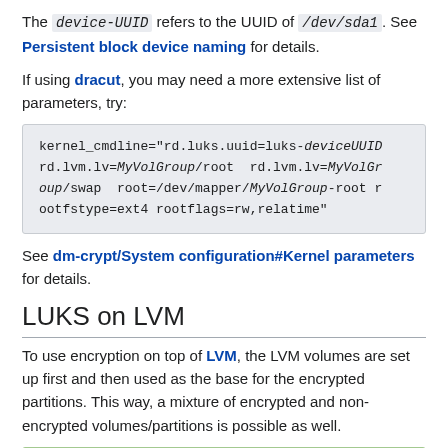The device-UUID refers to the UUID of /dev/sda1. See Persistent block device naming for details.
If using dracut, you may need a more extensive list of parameters, try:
kernel_cmdline="rd.luks.uuid=luks-deviceUUID rd.lvm.lv=MyVolGroup/root  rd.lvm.lv=MyVolGroup/swap  root=/dev/mapper/MyVolGroup-root rootfstype=ext4 rootflags=rw,relatime"
See dm-crypt/System configuration#Kernel parameters for details.
LUKS on LVM
To use encryption on top of LVM, the LVM volumes are set up first and then used as the base for the encrypted partitions. This way, a mixture of encrypted and non-encrypted volumes/partitions is possible as well.
Tip: Unlike #LVM on LUKS, this method allows normally